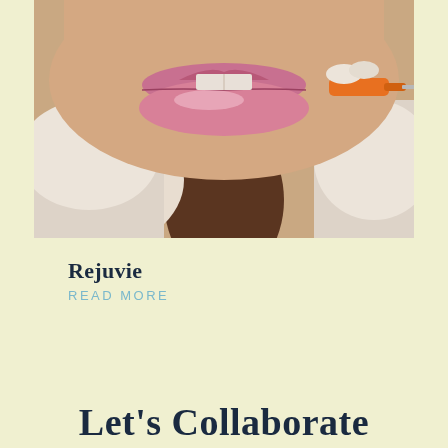[Figure (photo): Close-up photo of a person's lower face and neck, with gloved hands holding an orange-capped syringe/filler near the lips, suggesting a cosmetic lip filler or injection procedure.]
Rejuvie
READ MORE
Let's Collaborate